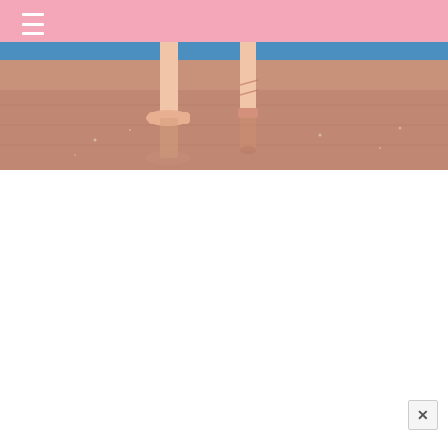[Figure (photo): Ballet dancer feet on stage, one flat and one on pointe, on a wooden stage floor with blue background banner reading PHOTOGRAPHY]
≡